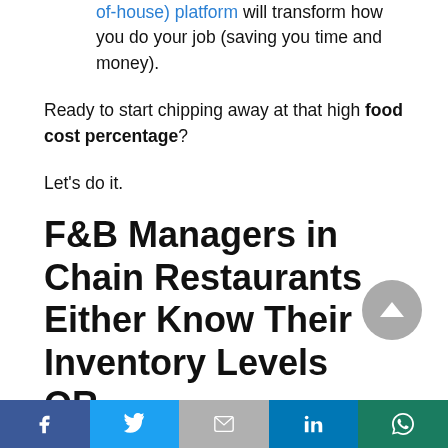of-house) platform will transform how you do your job (saving you time and money).
Ready to start chipping away at that high food cost percentage?
Let's do it.
F&B Managers in Chain Restaurants Either Know Their Inventory Levels OR...
… they watch in horror as the gap between
Facebook | Twitter | Gmail | LinkedIn | WhatsApp